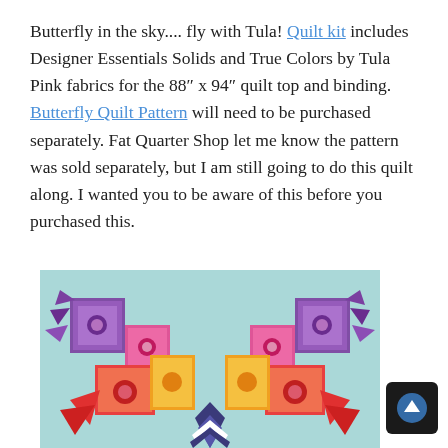Butterfly in the sky.... fly with Tula! Quilt kit includes Designer Essentials Solids and True Colors by Tula Pink fabrics for the 88" x 94" quilt top and binding. Butterfly Quilt Pattern will need to be purchased separately. Fat Quarter Shop let me know the pattern was sold separately, but I am still going to do this quilt along. I wanted you to be aware of this before you purchased this.
[Figure (photo): Partial view of a colorful butterfly quilt featuring symmetrical wings with purple, pink, red, orange, and yellow patchwork blocks on a light blue/teal background, with a chevron pattern at the bottom center.]